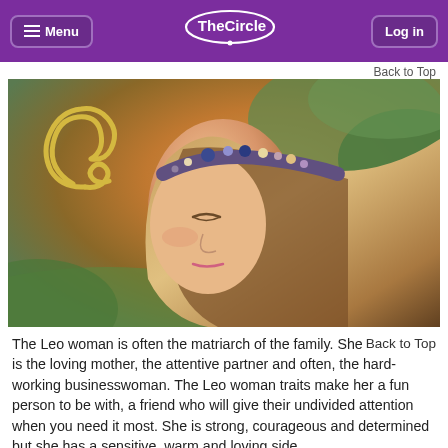Menu  TheCircle  Log in
Back to Top
[Figure (photo): Young woman with eyes closed, wearing a jeweled headband, with long blonde hair. A golden Leo zodiac symbol overlaid on the upper left. Background shows warm earthy tones with green foliage.]
The Leo woman is often the matriarch of the family.      Back to Top She is the loving mother, the attentive partner and often, the hard-working businesswoman. The Leo woman traits make her a fun person to be with, a friend who will give their undivided attention when you need it most. She is strong, courageous and determined but she has a sensitive, warm and loving side.